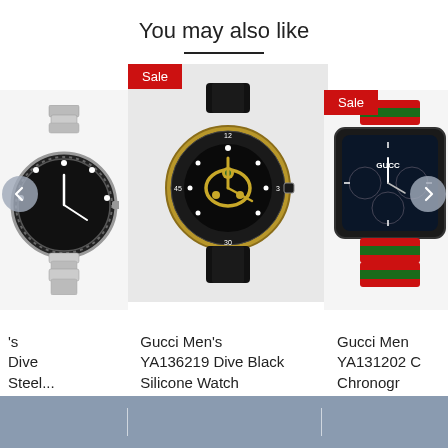You may also like
[Figure (photo): Partial view of a Gucci men's dive watch with stainless steel bracelet, cropped on the left side]
[Figure (photo): Gucci Men's YA136219 Dive Black Silicone Watch with gold-tone case and snake motif dial, with Sale badge]
[Figure (photo): Partial view of Gucci Men's YA131202 Chronograph watch with red and green strap, cropped on the right side, with Sale badge]
's
Dive
Steel...
Gucci Men's
YA136219 Dive Black
Silicone Watch
Gucci Men
YA131202 C
Chronogr